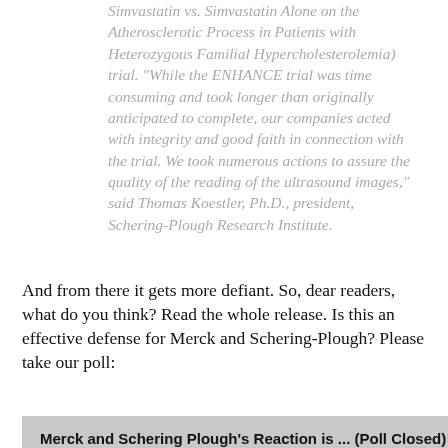Simvastatin vs. Simvastatin Alone on the Atherosclerotic Process in Patients with Heterozygous Familial Hypercholesterolemia) trial. "While the ENHANCE trial was time consuming and took longer than originally anticipated to complete, our companies acted with integrity and good faith in connection with the trial. We took numerous actions to assure the quality of the reading of the ultrasound images," said Thomas Koestler, Ph.D., president, Schering-Plough Research Institute.
And from there it gets more defiant. So, dear readers, what do you think? Read the whole release. Is this an effective defense for Merck and Schering-Plough? Please take our poll:
| Merck and Schering Plough's Reaction is ... (Poll Closed) |
| Too Little, Too Late  42.55%  (20 votes) |